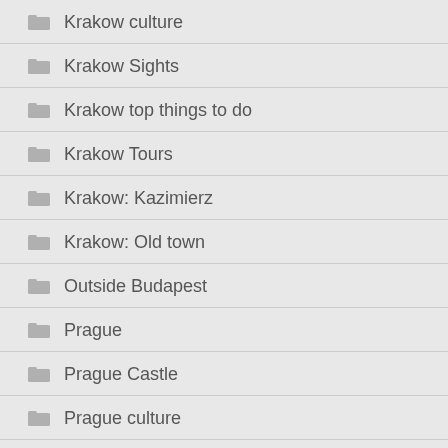Krakow culture
Krakow Sights
Krakow top things to do
Krakow Tours
Krakow: Kazimierz
Krakow: Old town
Outside Budapest
Prague
Prague Castle
Prague culture